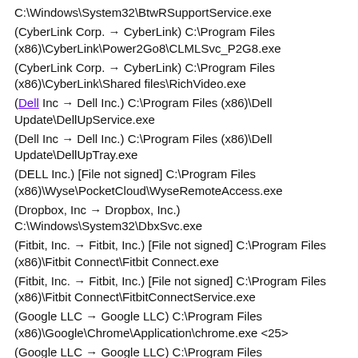C:\Windows\System32\BtwRSupportService.exe
(CyberLink Corp. → CyberLink) C:\Program Files (x86)\CyberLink\Power2Go8\CLMLSvc_P2G8.exe
(CyberLink Corp. → CyberLink) C:\Program Files (x86)\CyberLink\Shared files\RichVideo.exe
(Dell Inc → Dell Inc.) C:\Program Files (x86)\Dell Update\DellUpService.exe
(Dell Inc → Dell Inc.) C:\Program Files (x86)\Dell Update\DellUpTray.exe
(DELL Inc.) [File not signed] C:\Program Files (x86)\Wyse\PocketCloud\WyseRemoteAccess.exe
(Dropbox, Inc → Dropbox, Inc.) C:\Windows\System32\DbxSvc.exe
(Fitbit, Inc. → Fitbit, Inc.) [File not signed] C:\Program Files (x86)\Fitbit Connect\Fitbit Connect.exe
(Fitbit, Inc. → Fitbit, Inc.) [File not signed] C:\Program Files (x86)\Fitbit Connect\FitbitConnectService.exe
(Google LLC → Google LLC) C:\Program Files (x86)\Google\Chrome\Application\chrome.exe <25>
(Google LLC → Google LLC) C:\Program Files (x86)\Google\Update\1.3.35.452\GoogleCrashHandler.exe
(Google LLC → Google LLC) C:\Program Files